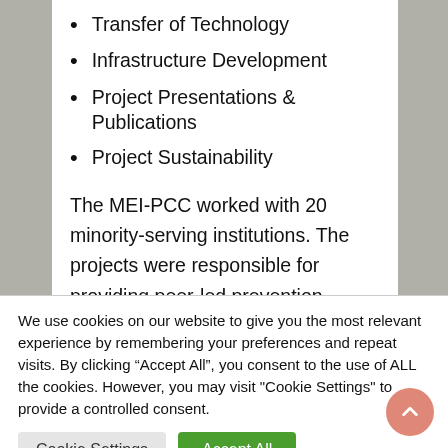Transfer of Technology
Infrastructure Development
Project Presentations & Publications
Project Sustainability
The MEI-PCC worked with 20 minority-serving institutions. The projects were responsible for providing peer-led prevention education interventions, including educational sessions, health promotion events, media
We use cookies on our website to give you the most relevant experience by remembering your preferences and repeat visits. By clicking “Accept All”, you consent to the use of ALL the cookies. However, you may visit "Cookie Settings" to provide a controlled consent.